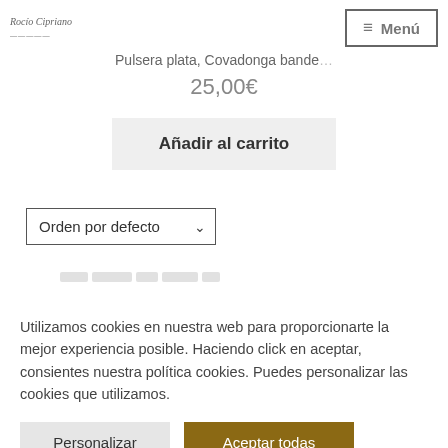Rocío Cipriano / Menú
Pulsera plata, Covadonga bande...
25,00€
Añadir al carrito
Orden por defecto
Utilizamos cookies en nuestra web para proporcionarte la mejor experiencia posible. Haciendo click en aceptar, consientes nuestra política cookies. Puedes personalizar las cookies que utilizamos.
Personalizar
Aceptar todas